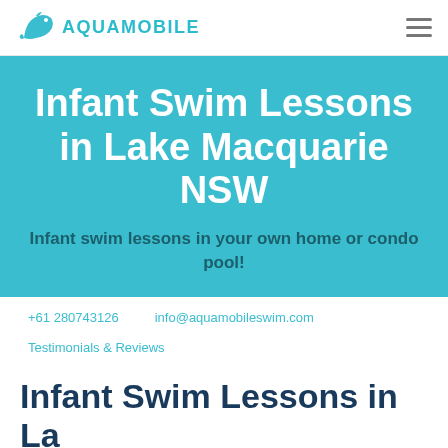AQUAMOBILE
Infant Swim Lessons in Lake Macquarie NSW
Infant swim lessons in your own home or condo pool!
+61 280743126
info@aquamobileswim.com
Testimonials & Reviews
Infant Swim Lessons in Lake Macquarie